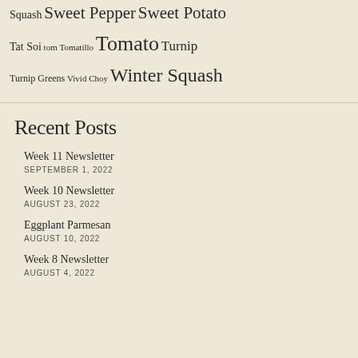Squash Sweet Pepper Sweet Potato Tat Soi tom Tomatillo Tomato Turnip Turnip Greens Vivid Choy Winter Squash
Recent Posts
Week 11 Newsletter
SEPTEMBER 1, 2022
Week 10 Newsletter
AUGUST 23, 2022
Eggplant Parmesan
AUGUST 10, 2022
Week 8 Newsletter
AUGUST 4, 2022